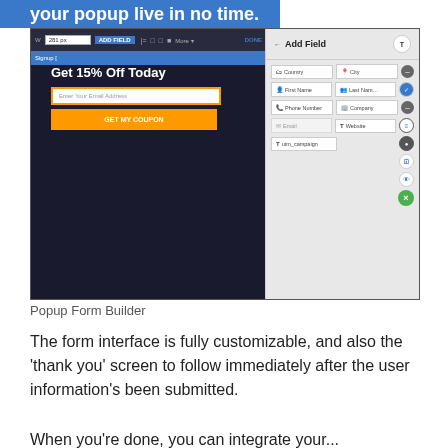your popup live in no time.
[Figure (screenshot): Screenshot of a Popup Form Builder interface showing a popup with 'Get 15% Off Today' offer and an 'Add Field' panel on the right with fields like Country, City, First Name, Last Name, Phone Number, Company, Email, Website, utm_campaign]
Popup Form Builder
The form interface is fully customizable, and also the ‘thank you’ screen to follow immediately after the user information’s been submitted.
When you’re done, you can integrate your...